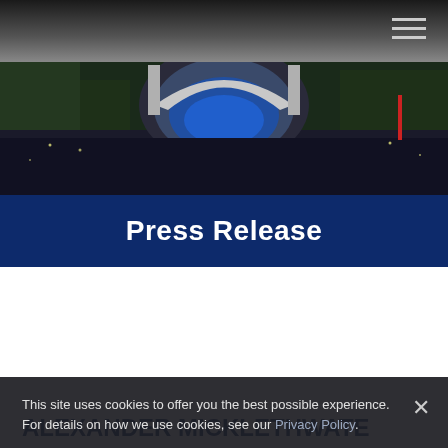[Figure (photo): Aerial night view of an outdoor amphitheater (Hollywood Bowl) with large crowds, illuminated stage with blue lighting and white shell structure, surrounded by trees]
Press Release
H B
"UNDEFINABLE" PINK MARTINI AND EXOTIC BEBEL GILBERTO JOIN THE LOS ANGELES PHILHARMONIC AT THE ALEXANDER MICKLETHWATE
This site uses cookies to offer you the best possible experience. For details on how we use cookies, see our Privacy Policy.